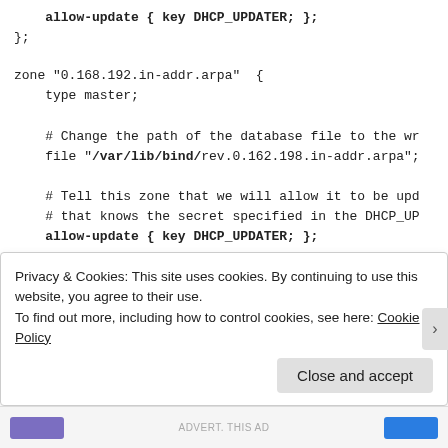allow-update { key DHCP_UPDATER; };
};

zone "0.168.192.in-addr.arpa"  {
    type master;

    # Change the path of the database file to the wr
    file "/var/lib/bind/rev.0.162.198.in-addr.arpa";

    # Tell this zone that we will allow it to be upd
    # that knows the secret specified in the DHCP_UP
    allow-update { key DHCP_UPDATER; };
};
Privacy & Cookies: This site uses cookies. By continuing to use this website, you agree to their use.
To find out more, including how to control cookies, see here: Cookie Policy